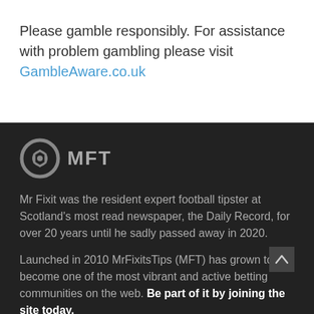Please gamble responsibly. For assistance with problem gambling please visit GambleAware.co.uk
[Figure (logo): MFT logo with circular target/crosshair icon in grey and the text MFT in bold grey letters]
Mr Fixit was the resident expert football tipster at Scotland's most read newspaper, the Daily Record, for over 20 years until he sadly passed away in 2020.
Launched in 2010 MrFixitsTips (MFT) has grown to become one of the most vibrant and active betting communities on the web. Be part of it by joining the site today.